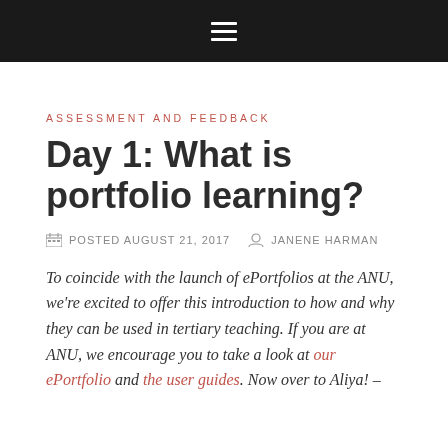≡ (navigation menu)
ASSESSMENT AND FEEDBACK
Day 1: What is portfolio learning?
POSTED AUGUST 21, 2017   JANENE HARMAN
To coincide with the launch of ePortfolios at the ANU, we're excited to offer this introduction to how and why they can be used in tertiary teaching. If you are at ANU, we encourage you to take a look at our ePortfolio and the user guides. Now over to Aliya! –